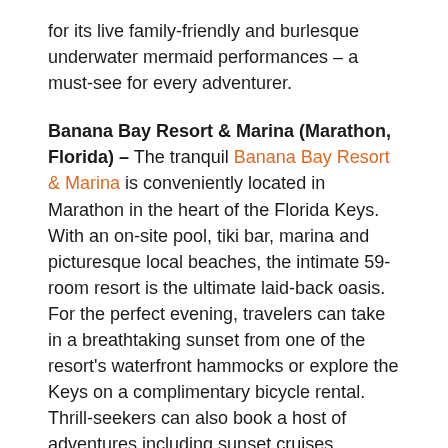for its live family-friendly and burlesque underwater mermaid performances – a must-see for every adventurer.
Banana Bay Resort & Marina (Marathon, Florida) – The tranquil Banana Bay Resort & Marina is conveniently located in Marathon in the heart of the Florida Keys. With an on-site pool, tiki bar, marina and picturesque local beaches, the intimate 59-room resort is the ultimate laid-back oasis. For the perfect evening, travelers can take in a breathtaking sunset from one of the resort's waterfront hammocks or explore the Keys on a complimentary bicycle rental. Thrill-seekers can also book a host of adventures including sunset cruises, snorkeling, jet skis and fishing charters directly on-site with the resort's experienced tour guides, Chartered Rentals.